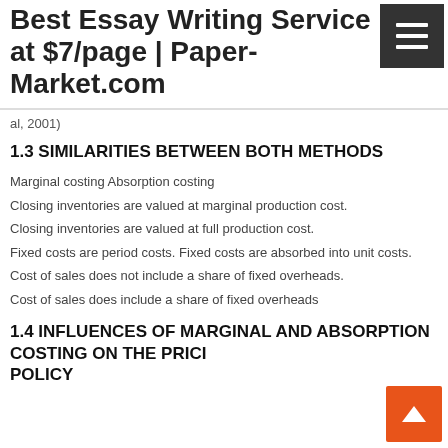Best Essay Writing Service at $7/page | Paper-Market.com
al, 2001)
1.3 SIMILARITIES BETWEEN BOTH METHODS
Marginal costing Absorption costing
Closing inventories are valued at marginal production cost.
Closing inventories are valued at full production cost.
Fixed costs are period costs. Fixed costs are absorbed into unit costs.
Cost of sales does not include a share of fixed overheads.
Cost of sales does include a share of fixed overheads
1.4 INFLUENCES OF MARGINAL AND ABSORPTION COSTING ON THE PRICING POLICY